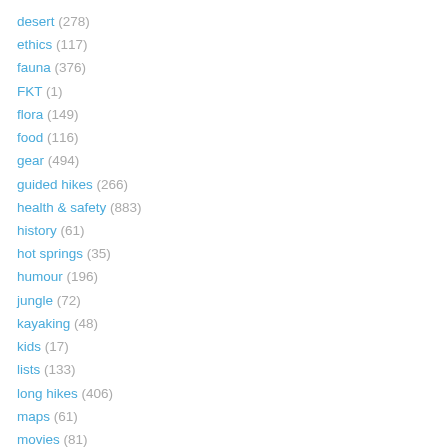desert (278)
ethics (117)
fauna (376)
FKT (1)
flora (149)
food (116)
gear (494)
guided hikes (266)
health & safety (883)
history (61)
hot springs (35)
humour (196)
jungle (72)
kayaking (48)
kids (17)
lists (133)
long hikes (406)
maps (61)
movies (81)
navigation (89)